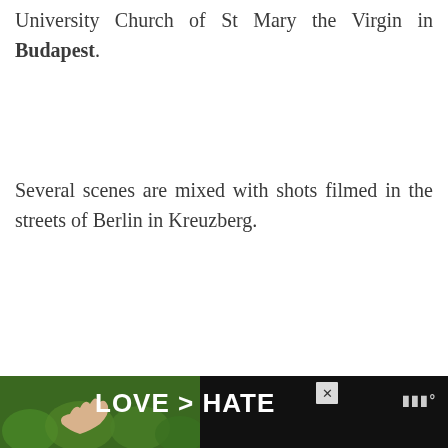University Church of St Mary the Virgin in Budapest.
Several scenes are mixed with shots filmed in the streets of Berlin in Kreuzberg.
Image courtesy of Amazon and Fred Romero - Map
[Figure (photo): Gray placeholder image box for a photo]
[Figure (infographic): Advertisement banner at the bottom showing hands forming a heart shape with text LOVE > HATE on a dark background, with a close button and logo]